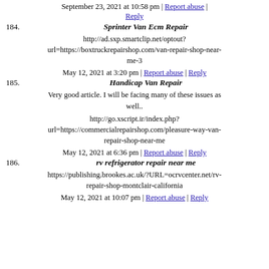September 23, 2021 at 10:58 pm | Report abuse | Reply
184. Sprinter Van Ecm Repair
http://ad.sxp.smartclip.net/optout?url=https://boxtruckrepairshop.com/van-repair-shop-near-me-3
May 12, 2021 at 3:20 pm | Report abuse | Reply
185. Handicap Van Repair
Very good article. I will be facing many of these issues as well..
http://go.xscript.ir/index.php?url=https://commercialrepairshop.com/pleasure-way-van-repair-shop-near-me
May 12, 2021 at 6:36 pm | Report abuse | Reply
186. rv refrigerator repair near me
https://publishing.brookes.ac.uk/?URL=ocrvcenter.net/rv-repair-shop-montclair-california
May 12, 2021 at 10:07 pm | Report abuse | Reply